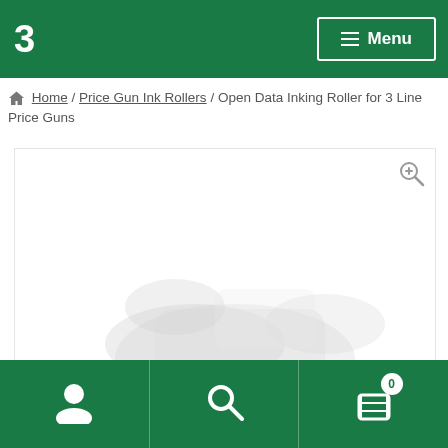☰ Menu
Home / Price Gun Ink Rollers / Open Data Inking Roller for 3 Line Price Guns
[Figure (photo): Product photo area showing an ink roller for price guns, mostly white/light gray image with faint product silhouette. Zoom icon in top right corner.]
User icon | Search icon | Cart icon (0)